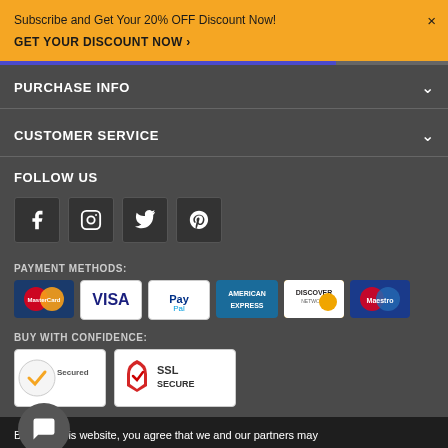Subscribe and Get Your 20% OFF Discount Now! GET YOUR DISCOUNT NOW ›
PURCHASE INFO
CUSTOMER SERVICE
FOLLOW US
[Figure (infographic): Social media icons for Facebook, Instagram, Twitter, Pinterest]
PAYMENT METHODS:
[Figure (infographic): Payment method logos: MasterCard, Visa, PayPal, American Express, Discover Network, Maestro]
BUY WITH CONFIDENCE:
[Figure (infographic): Trust badges: Secured (checkmark) badge and SSL SECURE shield badge]
By using this website, you agree that we and our partners may set cookies for purposes such as customising content and